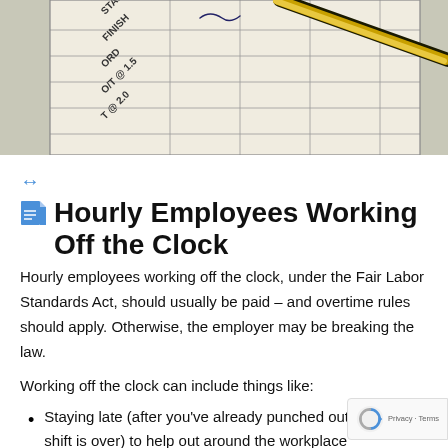[Figure (photo): Close-up photo of a timesheet document with rows labeled START, FINISH, ORD, O/T @ 1.5, T @ 2.0, with a pen resting on the paper]
Hourly Employees Working Off the Clock
Hourly employees working off the clock, under the Fair Labor Standards Act, should usually be paid – and overtime rules should apply. Otherwise, the employer may be breaking the law.
Working off the clock can include things like:
Staying late (after you've already punched out or your shift is over) to help out around the workplace